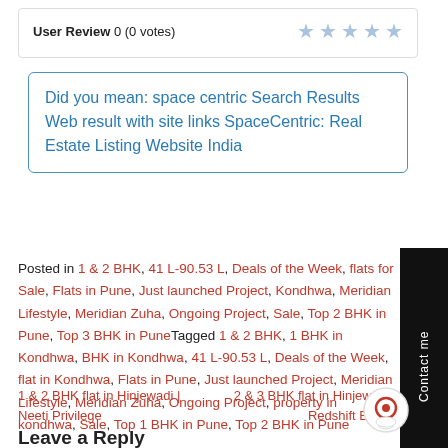User Review 0 (0 votes) ★ ★ ★ ★ ★
Did you mean: space centric Search Results Web result with site links SpaceCentric: Real Estate Listing Website India
Posted in 1 & 2 BHK, 41 L-90.53 L, Deals of the Week, flats for Sale, Flats in Pune, Just launched Project, Kondhwa, Meridian Lifestyle, Meridian Zuha, Ongoing Project, Sale, Top 2 BHK in Pune, Top 3 BHK in Pune Tagged 1 & 2 BHK, 1 BHK in Kondhwa, BHK in Kondhwa, 41 L-90.53 L, Deals of the Week, flat in Kondhwa, Flats in Pune, Just launched Project, Meridian Lifestyle, Meridian Zuha, Ongoing Project, property in kondhwa, Sale, Top 1 BHK in Pune, Top 2 BHK in Pune
1 & 2 BHK flat in Hinjewadi | Neeti Privilege
2 & 3 BHK flat in Hinjewadi | Redshift Blo___le
Leave a Reply